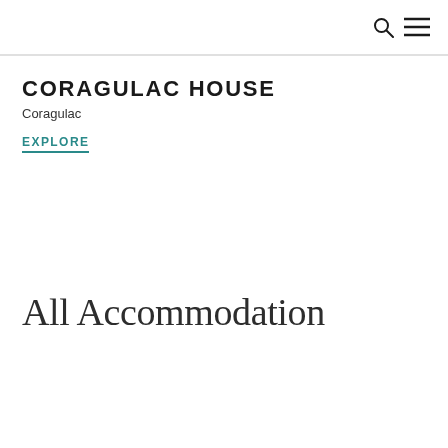🔍 ☰
CORAGULAC HOUSE
Coragulac
EXPLORE
All Accommodation